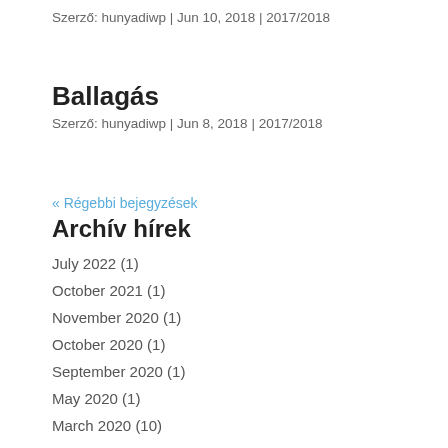Szerző: hunyadiwp | Jun 10, 2018 | 2017/2018
Ballagás
Szerző: hunyadiwp | Jun 8, 2018 | 2017/2018
« Régebbi bejegyzések
Archív hírek
July 2022 (1)
October 2021 (1)
November 2020 (1)
October 2020 (1)
September 2020 (1)
May 2020 (1)
March 2020 (10)